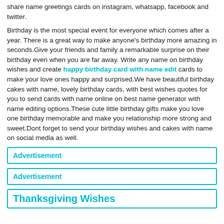share name greetings cards on instagram, whatsapp, facebook and twitter.
Birthday is the most special event for everyone which comes after a year. There is a great way to make anyone's birthday more amazing in seconds.Give your friends and family a remarkable surprise on their birthday even when you are far away. Write any name on birthday wishes and create happy birthday card with name edit cards to make your love ones happy and surprised.We have beautiful birthday cakes with name, lovely birthday cards, with best wishes quotes for you to send cards with name online on best name generator with name editing options.These cute little birthday gifts make you love one birthday memorable and make you relationship more strong and sweet.Dont forget to send your birthday wishes and cakes with name on social media as well.
Advertisement
Advertisement
Thanksgiving Wishes